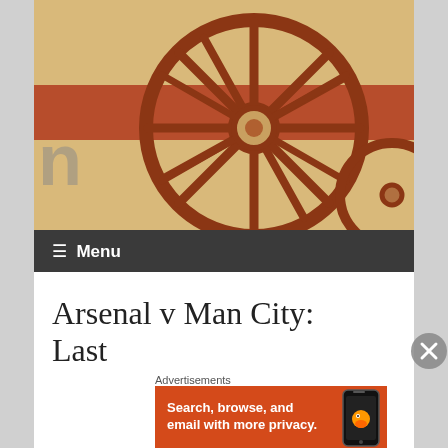[Figure (illustration): Arsenal cannon wheel logo banner image — close-up of a red/brown cannon wheel on a beige/sandy background with a red horizontal stripe, partial letter 'n' visible on left side]
≡  Menu
Arsenal v Man City: Last
Advertisements
[Figure (screenshot): DuckDuckGo advertisement banner — orange background with text 'Search, browse, and email with more privacy.' and a phone mockup on the right showing the DuckDuckGo app]